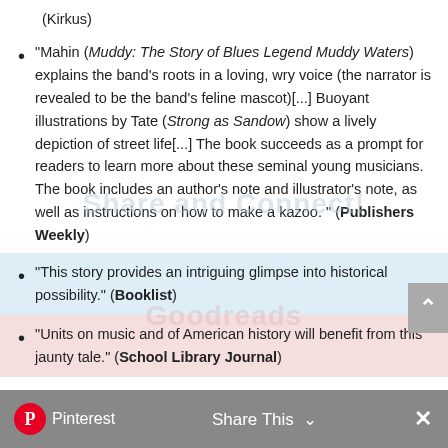(Kirkus)
"Mahin (Muddy: The Story of Blues Legend Muddy Waters) explains the band's roots in a loving, wry voice (the narrator is revealed to be the band's feline mascot)[...] Buoyant illustrations by Tate (Strong as Sandow) show a lively depiction of street life[...] The book succeeds as a prompt for readers to learn more about these seminal young musicians. The book includes an author's note and illustrator's note, as well as instructions on how to make a kazoo. " (Publishers Weekly)
"This story provides an intriguing glimpse into historical possibility." (Booklist)
"Units on music and of American history will benefit from this jaunty tale." (School Library Journal)
Pinterest  Share This  ×